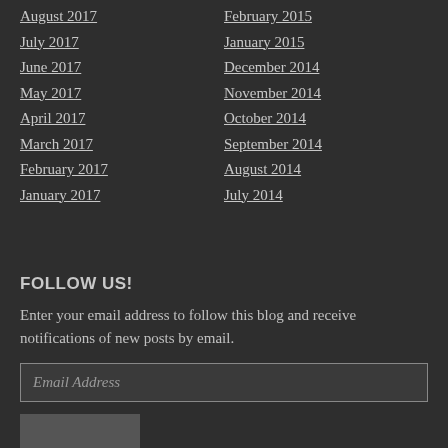August 2017
February 2015
July 2017
January 2015
June 2017
December 2014
May 2017
November 2014
April 2017
October 2014
March 2017
September 2014
February 2017
August 2014
January 2017
July 2014
FOLLOW US!
Enter your email address to follow this blog and receive notifications of new posts by email.
Email Address